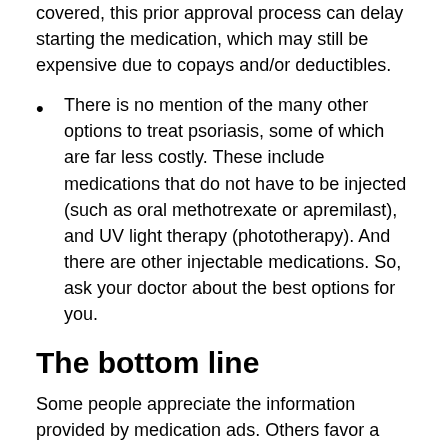covered, this prior approval process can delay starting the medication, which may still be expensive due to copays and/or deductibles.
There is no mention of the many other options to treat psoriasis, some of which are far less costly. These include medications that do not have to be injected (such as oral methotrexate or apremilast), and UV light therapy (phototherapy). And there are other injectable medications. So, ask your doctor about the best options for you.
The bottom line
Some people appreciate the information provided by medication ads. Others favor a ban on such advertising, as is the case in most other countries. And recently, two advocacy groups asked the FDA not to allow drug ads to play music when the risks of drug side effects are presented, arguing that it distracts consumers from focusing on this important